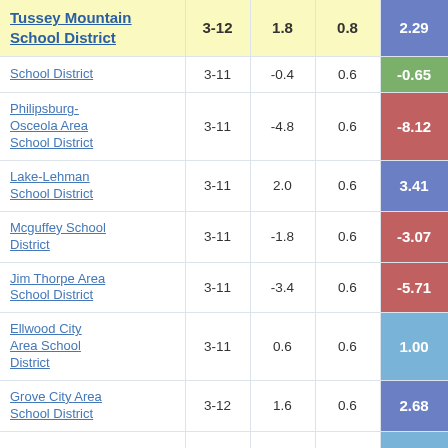| School District | Grades | Col3 | Col4 | Score |
| --- | --- | --- | --- | --- |
| Tussey Mountain School District | 3-12 | 1.8 | 0.8 | 2.29 |
| School District | 3-11 | -0.4 | 0.6 | -0.65 |
| Philipsburg-Osceola Area School District | 3-11 | -4.8 | 0.6 | -8.12 |
| Lake-Lehman School District | 3-11 | 2.0 | 0.6 | 3.41 |
| Mcguffey School District | 3-11 | -1.8 | 0.6 | -3.07 |
| Jim Thorpe Area School District | 3-11 | -3.4 | 0.6 | -5.71 |
| Ellwood City Area School District | 3-11 | 0.6 | 0.6 | 1.00 |
| Grove City Area School District | 3-12 | 1.6 | 0.6 | 2.68 |